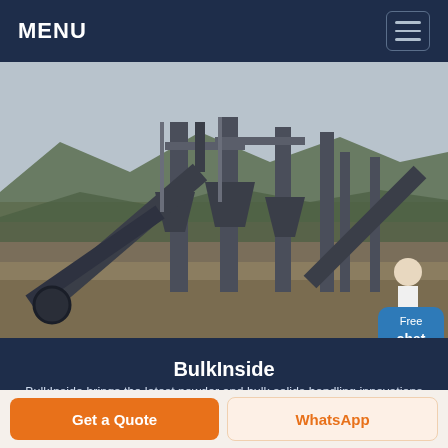MENU
[Figure (photo): Industrial bulk material handling equipment at an outdoor mining/quarrying site, with large conveyor structures and hoppers, mountains in background, overcast sky. A person in white coat stands at right edge.]
BulkInside
BulkInside brings the latest powder and bulk solids handling innovations Latest News Events Manufacturers Directory and Equipment Guide
Get a Quote
WhatsApp